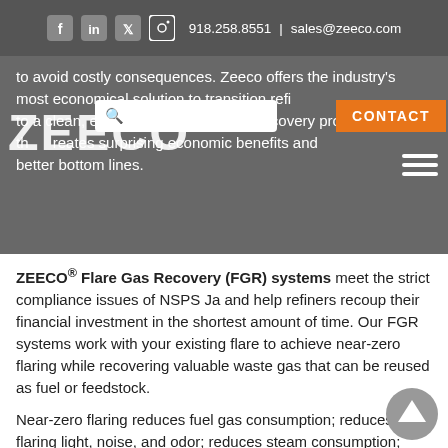918.258.8551 | sales@zeeco.com
to avoid costly consequences. Zeeco offers the industry's most economical solution to transition refineries to a clean, energy-efficient flare gas recovery process that creates surprising economic benefits and better bottom lines.
ZEECO® Flare Gas Recovery (FGR) systems meet the strict compliance issues of NSPS Ja and help refiners recoup their financial investment in the shortest amount of time. Our FGR systems work with your existing flare to achieve near-zero flaring while recovering valuable waste gas that can be reused as fuel or feedstock.
Near-zero flaring reduces fuel gas consumption; reduces flaring light, noise, and odor; reduces steam consumption; lengthens flare tip life; and builds a more